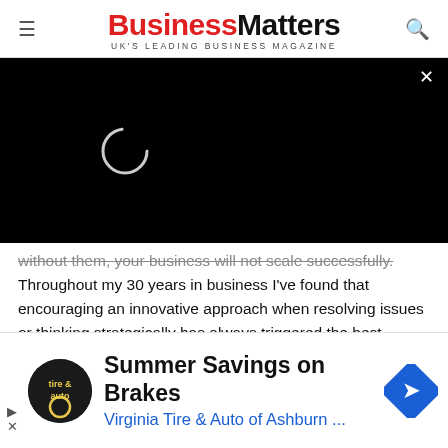BusinessMatters UK'S LEADING BUSINESS MAGAZINE
[Figure (screenshot): Black video player overlay with a loading spinner (partial circle) in the upper-left area and an X close button in the top-right corner.]
without them, your business will not scale successfully. Throughout my 30 years in business I've found that encouraging an innovative approach when resolving issues or thinking strategically has always triggered the best results for me because the resolution tends to be outside the box and imaginative, something people wouldn't expect to see.
[Figure (screenshot): Advertisement banner: Summer Savings on Brakes — Virginia Tire & Auto of Ashburn ... with tire & auto logo and blue road sign icon.]